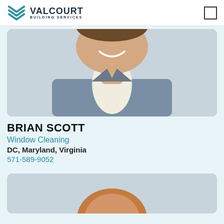VALCOURT BUILDING SERVICES
[Figure (photo): Professional headshot of Brian Scott, man in grey suit jacket and white shirt, smiling]
BRIAN SCOTT
Window Cleaning
DC, Maryland, Virginia
571-589-9052
[Figure (photo): Partial professional headshot of another person, showing top of head with reddish-brown hair]